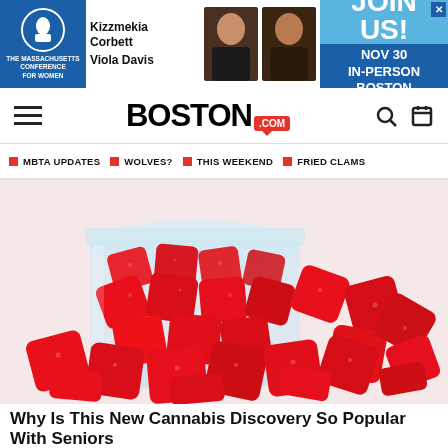[Figure (other): Advertisement banner for The Massachusetts Conference for Women featuring Kizzmekia Corbett and Viola Davis, with 'JOIN US! NOV 30 IN-PERSON BOSTON' call to action]
BOSTON.COM
MBTA UPDATES
WOLVES?
THIS WEEKEND
FRIED CLAMS
[Figure (photo): Photo of red sugary candy gummies (gummy bears/cubes) spilling out of a glass jar on a white background]
Why Is This New Cannabis Discovery So Popular With Seniors